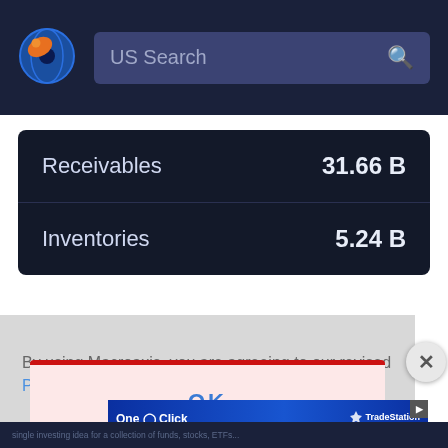[Figure (logo): Macroaxis globe logo — blue circle with orange crescent/satellite icon]
US Search
|  |  |
| --- | --- |
| Receivables | 31.66 B |
| Inventories | 5.24 B |
By using Macroaxis, you are agreeing to our revised Privacy Policy
[Figure (screenshot): Advertisement banner: One Click — Many Trading Possibilities! TradeStation Learn More]